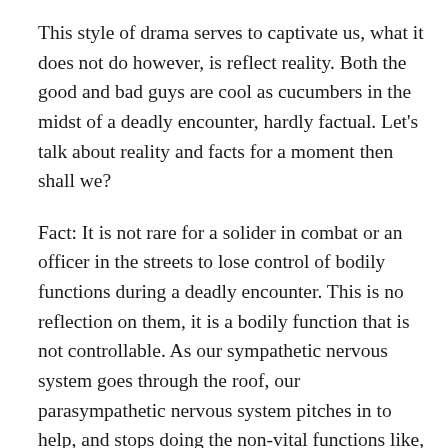This style of drama serves to captivate us, what it does not do however, is reflect reality. Both the good and bad guys are cool as cucumbers in the midst of a deadly encounter, hardly factual. Let's talk about reality and facts for a moment then shall we?
Fact: It is not rare for a solider in combat or an officer in the streets to lose control of bodily functions during a deadly encounter. This is no reflection on them, it is a bodily function that is not controllable. As our sympathetic nervous system goes through the roof, our parasympathetic nervous system pitches in to help, and stops doing the non-vital functions like, holding your bladder and sphincter muscles.
Fact: When our heart rate goes above 140 BPM, we exit our frontal lobe processing, and enter Parietal lobe processing. Our speech does not come as easy, our complex motor